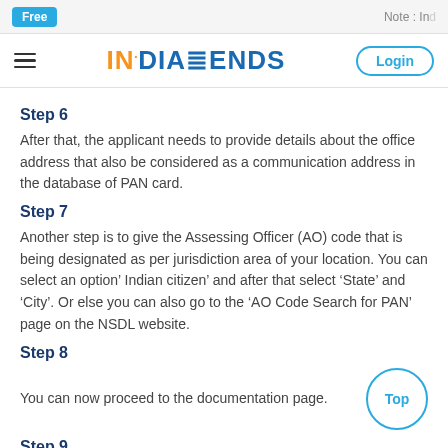Free   Note : In...
INDIALENDS  Login
Step 6
After that, the applicant needs to provide details about the office address that also be considered as a communication address in the database of PAN card.
Step 7
Another step is to give the Assessing Officer (AO) code that is being designated as per jurisdiction area of your location. You can select an option’ Indian citizen’ and after that select ‘State’ and ‘City’. Or else you can also go to the ‘AO Code Search for PAN’ page on the NSDL website.
Step 8
You can now proceed to the documentation page.
Step 9